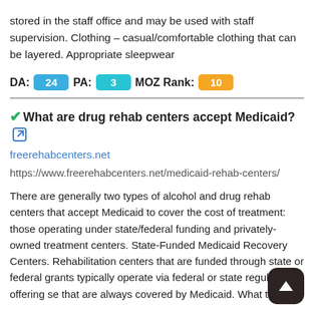stored in the staff office and may be used with staff supervision. Clothing – casual/comfortable clothing that can be layered. Appropriate sleepwear
DA: 24 PA: 3 MOZ Rank: 10
What are drug rehab centers accept Medicaid?
freerehabcenters.net
https://www.freerehabcenters.net/medicaid-rehab-centers/
There are generally two types of alcohol and drug rehab centers that accept Medicaid to cover the cost of treatment: those operating under state/federal funding and privately-owned treatment centers. State-Funded Medicaid Recovery Centers. Rehabilitation centers that are funded through state or federal grants typically operate via federal or state regulations, offering se that are always covered by Medicaid. What to know